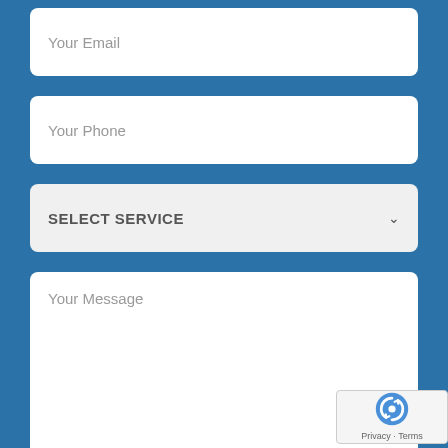[Figure (screenshot): Web contact form showing input fields for Your Email, Your Phone, a SELECT SERVICE dropdown, and a Your Message textarea, on a blue background. A reCAPTCHA badge appears in the bottom right corner.]
Your Email
Your Phone
SELECT SERVICE
Your Message